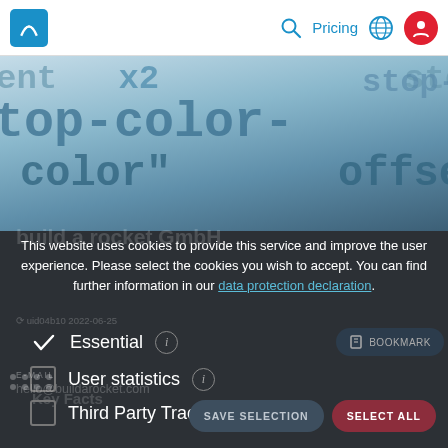build a rocket GmbH — navigation bar with logo, search, Pricing, globe, user icon
[Figure (screenshot): Dark-themed website hero background showing CSS code words: stop-color, color, offset in large monospace font on a blue-grey gradient]
This website uses cookies to provide this service and improve the user experience. Please select the cookies you wish to accept. You can find further information in our data protection declaration.
✓ Essential ⓘ
☐ User statistics ⓘ
☐ Third Party Tracking ⓘ
E-MAIL
hello@buildarocket.com
SAVE SELECTION   SELECT ALL